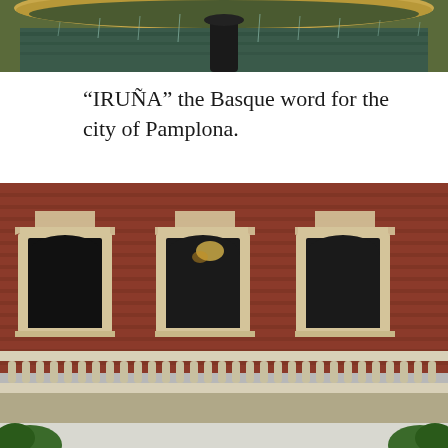[Figure (photo): Close-up of a fountain basin with water dripping, greenish water visible, dark metallic center support]
“IRUÑA” the Basque word for the city of Pamplona.
[Figure (photo): Facade of a classical brick building with three arched windows framed by ornate stone pediments, a white balustrade balcony in front, and green trees visible at the bottom corners]